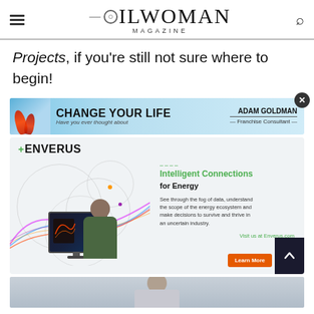OILWOMAN MAGAZINE
Projects, if you're still not sure where to begin!
[Figure (illustration): Change Your Life advertisement banner featuring Adam Goldman Franchise Consultant with decorative red peppers/flames on blue background]
[Figure (illustration): Enverus advertisement: Intelligent Connections for Energy - shows man working at computer with colorful data visualizations. Text: See through the fog of data, understand the scope of the energy ecosystem and make decisions to survive and thrive in an uncertain industry. Visit us at Enverus.com]
[Figure (photo): Bottom strip showing partial photo of a person]